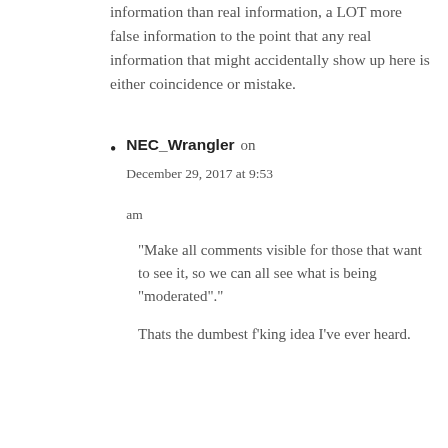information than real information, a LOT more false information to the point that any real information that might accidentally show up here is either coincidence or mistake.
NEC_Wrangler on December 29, 2017 at 9:53 am
“Make all comments visible for those that want to see it, so we can all see what is being “moderated”.”
Thats the dumbest f’king idea I’ve ever heard.